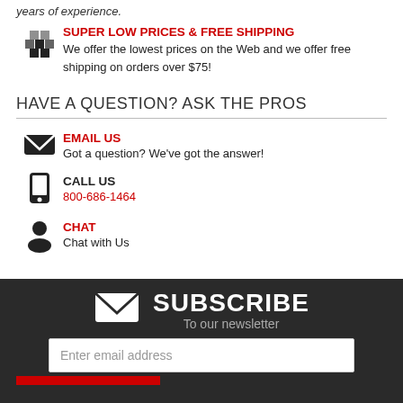years of experience.
SUPER LOW PRICES & FREE SHIPPING
We offer the lowest prices on the Web and we offer free shipping on orders over $75!
HAVE A QUESTION? ASK THE PROS
EMAIL US
Got a question? We've got the answer!
CALL US
800-686-1464
CHAT
Chat with Us
SUBSCRIBE
To our newsletter
Enter email address